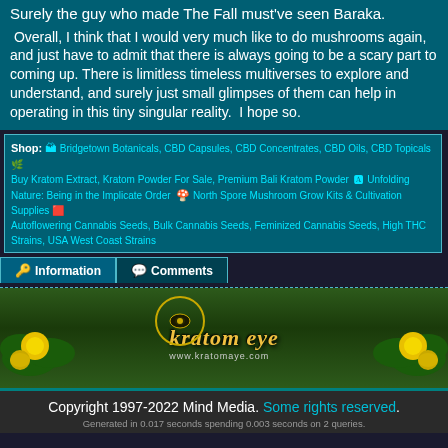Surely the guy who made The Fall must've seen Baraka.
Overall, I think that I would very much like to do mushrooms again, and just have to admit that there is always going to be a scary part to coming up. There is limitless timeless multiverses to explore and understand, and surely just small glimpses of them can help in operating in this tiny singular reality.  I hope so.
Shop: Bridgetown Botanicals, CBD Capsules, CBD Concentrates, CBD Oils, CBD Topicals Buy Kratom Extract, Kratom Powder For Sale, Premium Bali Kratom Powder Unfolding Nature: Being in the Implicate Order North Spore Mushroom Grow Kits & Cultivation Supplies Autoflowering Cannabis Seeds, Bulk Cannabis Seeds, Feminized Cannabis Seeds, High THC Strains, USA West Coast Strains
Information
Comments
[Figure (logo): Kratom Eye logo banner with green lotus flowers and golden text reading 'kratom eye' with www.kratomeye.com url. Below reads PLEASE SUPPORT OUR SPONSORS.]
Copyright 1997-2022 Mind Media. Some rights reserved. Generated in 0.017 seconds spending 0.003 seconds on 2 queries.